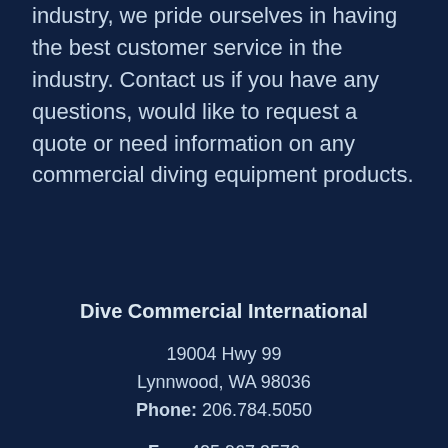industry, we pride ourselves in having the best customer service in the industry. Contact us if you have any questions, would like to request a quote or need information on any commercial diving equipment products.
Dive Commercial International
19004 Hwy 99
Lynnwood, WA 98036
Phone: 206.784.5050
Fax: 425.967.3576
Site By Odd Dog